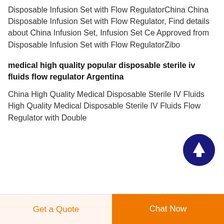Disposable Infusion Set with Flow RegulatorChina China Disposable Infusion Set with Flow Regulator, Find details about China Infusion Set, Infusion Set Ce Approved from Disposable Infusion Set with Flow RegulatorZibo
medical high quality popular disposable sterile iv fluids flow regulator Argentina
China High Quality Medical Disposable Sterile IV Fluids High Quality Medical Disposable Sterile IV Fluids Flow Regulator with Double
[Figure (other): Dark navy/indigo circular scroll-to-top button with white upward arrow icon]
Get a Quote
Chat Now